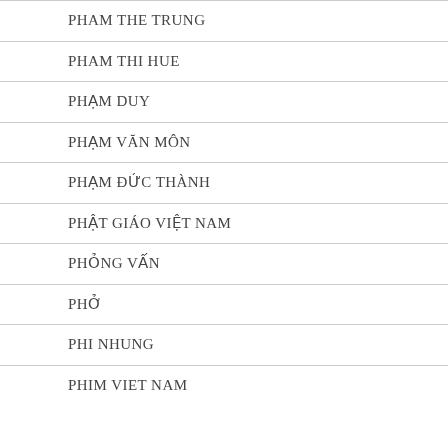PHAM THE TRUNG
PHAM THI HUE
PHẠM DUY
PHẠM VĂN MÔN
PHẠM ĐỨC THÀNH
PHẬT GIÁO VIỆT NAM
PHỎNG VẤN
PHỞ
PHI NHUNG
PHIM VIET NAM